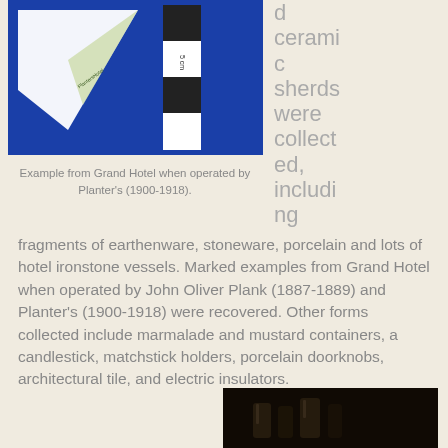[Figure (photo): Photo of ceramic sherds from Grand Hotel including a matchbook from Planter's Hotel and a black-and-white scale bar, set against a blue background.]
Example from Grand Hotel when operated by Planter's (1900-1918).
d ceramic sherds were collected, including
fragments of earthenware, stoneware, porcelain and lots of hotel ironstone vessels. Marked examples from Grand Hotel when operated by John Oliver Plank (1887-1889) and Planter's (1900-1918) were recovered. Other forms collected include marmalade and mustard containers, a candlestick, matchstick holders, porcelain doorknobs, architectural tile, and electric insulators.
[Figure (photo): Dark photo at bottom of page showing unidentified objects against dark background.]